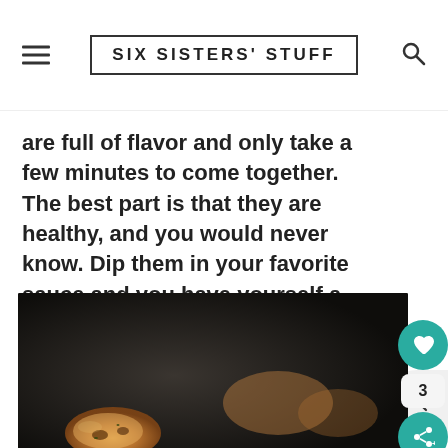SIX SISTERS' STUFF
are full of flavor and only take a few minutes to come together. The best part is that they are healthy, and you would never know. Dip them in your favorite sauce and you have yourself a healthy dinner, or a delicious snack for game day.
[Figure (photo): Close-up photo of golden-brown baked/fried food pieces (chicken or similar) on a dark background]